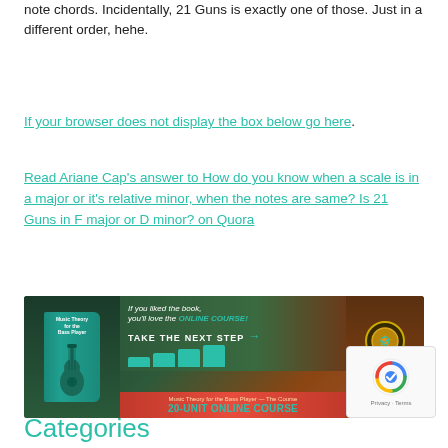note chords. Incidentally, 21 Guns is exactly one of those. Just in a different order, hehe.
If your browser does not display the box below go here.
Read Ariane Cap's answer to How do you know when a scale is in a major or it's relative minor, when the notes are same? Is 21 Guns in F major or D minor? on Quora
[Figure (photo): Promotional banner for Music Theory for the Bass Player online course. Shows book cover with teal guitar, text 'If you liked the book, you'll love the ONLINE COURSE!', steps graphic labeled TAKE THE NEXT STEP, and '20-UNIT ONLINE COURSE' with 'LIFETIME ACCESS — OFFERING INSTALLMENT PLANS' badge.]
[Figure (other): reCAPTCHA widget showing the reCAPTCHA logo and Privacy - Terms text]
Categories